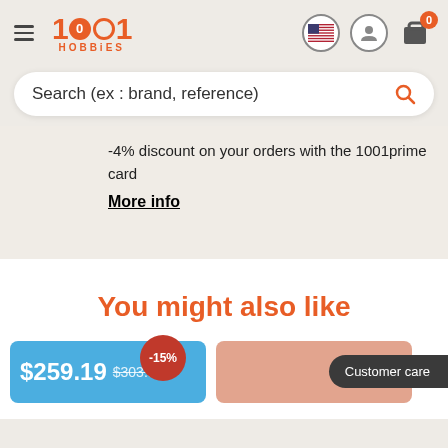1001 HOBBIES
Search (ex : brand, reference)
-4% discount on your orders with the 1001prime card
More info
You might also like
-15%
Customer care
$259.19  $303.99